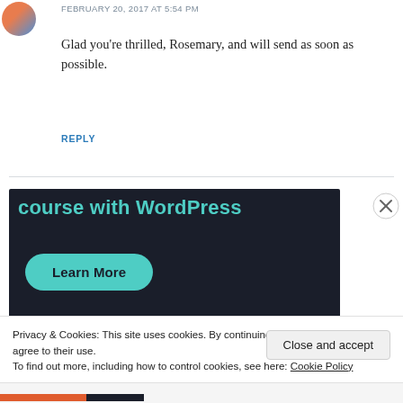FEBRUARY 20, 2017 AT 5:54 PM
Glad you're thrilled, Rosemary, and will send as soon as possible.
REPLY
[Figure (screenshot): Dark-background advertisement banner showing 'course with WordPress' text in teal and a teal 'Learn More' pill button]
Privacy & Cookies: This site uses cookies. By continuing to use this website, you agree to their use.
To find out more, including how to control cookies, see here: Cookie Policy
Close and accept